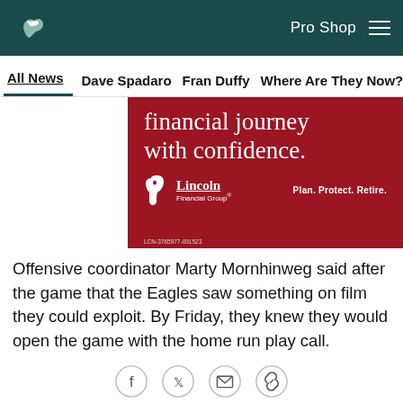Pro Shop
All News | Dave Spadaro | Fran Duffy | Where Are They Now? | Pu...
[Figure (advertisement): Lincoln Financial Group advertisement on red background: 'financial journey with confidence.' with Lincoln Financial Group logo and 'Plan. Protect. Retire.' tagline. Code: LCN-3765977-091523]
Offensive coordinator Marty Mornhinweg said after the game that the Eagles saw something on film they could exploit. By Friday, they knew they would open the game with the home run play call.